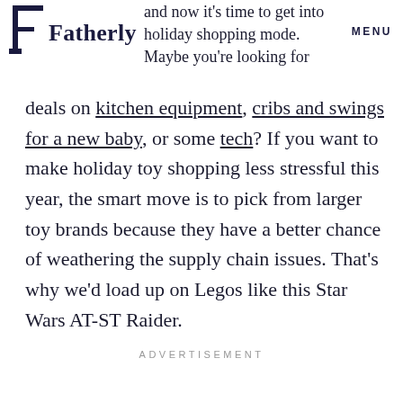Fatherly  MENU
and now it's time to get into holiday shopping mode. Maybe you're looking for deals on kitchen equipment, cribs and swings for a new baby, or some tech? If you want to make holiday toy shopping less stressful this year, the smart move is to pick from larger toy brands because they have a better chance of weathering the supply chain issues. That's why we'd load up on Legos like this Star Wars AT-ST Raider.
ADVERTISEMENT